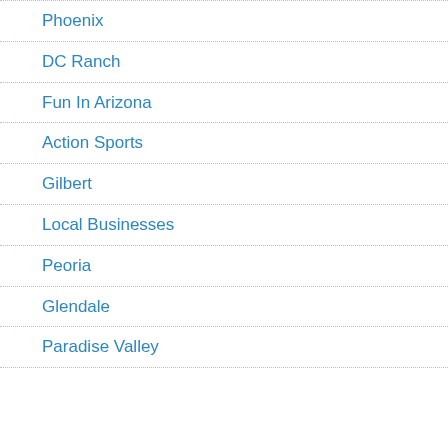Phoenix
DC Ranch
Fun In Arizona
Action Sports
Gilbert
Local Businesses
Peoria
Glendale
Paradise Valley